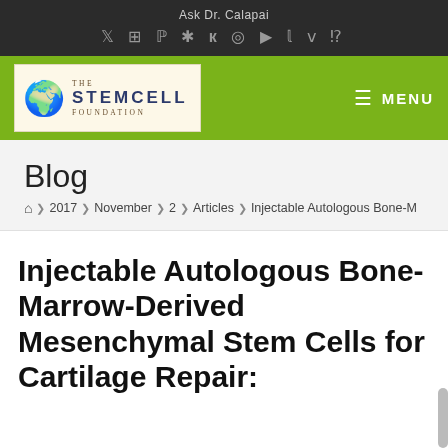Ask Dr. Calapai
[Figure (screenshot): The Stem Cell Foundation logo with globe icon and green navigation bar with MENU button]
Blog
Home > 2017 > November > 2 > Articles > Injectable Autologous Bone-M
Injectable Autologous Bone-Marrow-Derived Mesenchymal Stem Cells for Cartilage Repair: